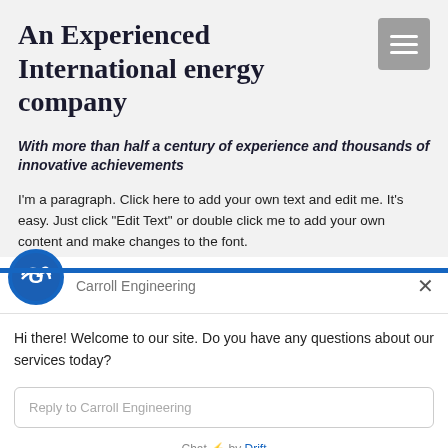An Experienced International energy company
With more than half a century of experience and thousands of innovative achievements
I'm a paragraph. Click here to add your own text and edit me. It's easy. Just click “Edit Text” or double click me to add your own content and make changes to the font.
[Figure (logo): Carroll Engineering logo — stylized CE letters in white on blue circle]
Carroll Engineering
Hi there! Welcome to our site. Do you have any questions about our services today?
Reply to Carroll Engineering
Chat ⚡ by Drift